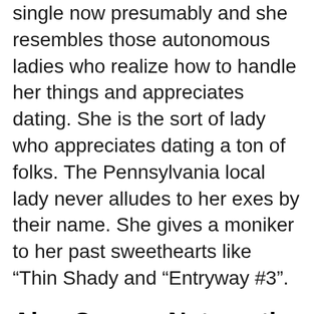single now presumably and she resembles those autonomous ladies who realize how to handle her things and appreciates dating. She is the sort of lady who appreciates dating a ton of folks. The Pennsylvania local lady never alludes to her exes by their name. She gives a moniker to her past sweethearts like “Thin Shady and “Entryway #3”.
Alex Cooper Net worth
Starting at 2020, the 27-year-elderly person has fabricated very well known distinction for herself, Alex Cooper is assessed to procure a total assets of around $300,000. She has tied down a chance to deal with the digital recording “Call Her Daddy” which further has achieved gigantic popularity and fan following. As indicated by the